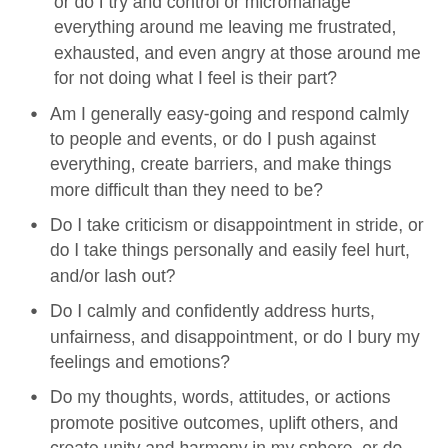Do I do my best and then let things fall into place, or do I try and control or micromanage everything around me leaving me frustrated, exhausted, and even angry at those around me for not doing what I feel is their part?
Am I generally easy-going and respond calmly to people and events, or do I push against everything, create barriers, and make things more difficult than they need to be?
Do I take criticism or disappointment in stride, or do I take things personally and easily feel hurt, and/or lash out?
Do I calmly and confidently address hurts, unfairness, and disappointment, or do I bury my feelings and emotions?
Do my thoughts, words, attitudes, or actions promote positive outcomes, uplift others, and create unity and harmony in my sphere, or do they